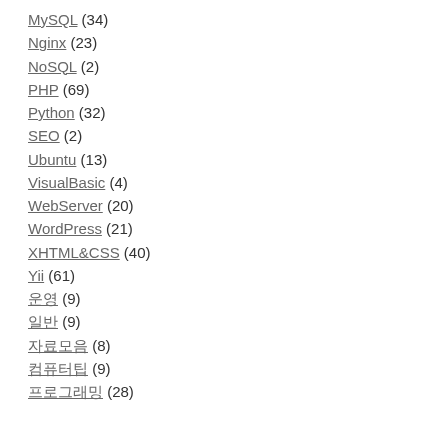MySQL (34)
Nginx (23)
NoSQL (2)
PHP (69)
Python (32)
SEO (2)
Ubuntu (13)
VisualBasic (4)
WebServer (20)
WordPress (21)
XHTML&CSS (40)
Yii (61)
운영 (9)
일반 (9)
자료모음 (8)
컴퓨터팁 (9)
프로그래밍 (28)